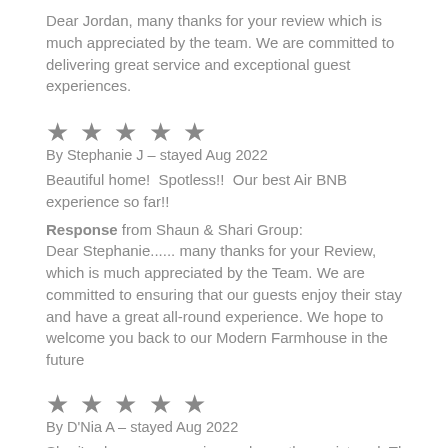Dear Jordan, many thanks for your review which is much appreciated by the team. We are committed to delivering great service and exceptional guest experiences.
[Figure (other): Five star rating icons (filled stars)]
By Stephanie J – stayed Aug 2022
Beautiful home!  Spotless!!  Our best Air BNB experience so far!!
Response from Shaun & Shari Group:
Dear Stephanie...... many thanks for your Review, which is much appreciated by the Team. We are committed to ensuring that our guests enjoy their stay and have a great all-round experience. We hope to welcome you back to our Modern Farmhouse in the future
[Figure (other): Five star rating icons (filled stars)]
By D'Nia A – stayed Aug 2022
Shari's place was amazing and exactly as pictured. The house was clean and peaceful. I really enjoyed my stay. Don